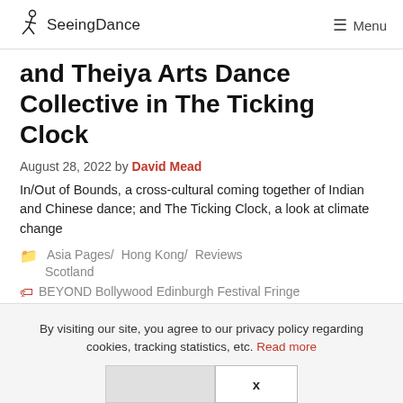SeeingDance  Menu
and Theiya Arts Dance Collective in The Ticking Clock
August 28, 2022 by David Mead
In/Out of Bounds, a cross-cultural coming together of Indian and Chinese dance; and The Ticking Clock, a look at climate change
Asia Pages/ Hong Kong/ Reviews Scotland
BEYOND Bollywood Edinburgh Festival Fringe
By visiting our site, you agree to our privacy policy regarding cookies, tracking statistics, etc. Read more